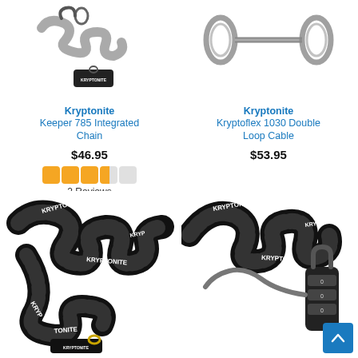[Figure (photo): Kryptonite Keeper 785 Integrated Chain lock, gray/black, shown coiled with integrated lock body]
[Figure (photo): Kryptonite Kryptoflex 1030 Double Loop Cable, gray cable with loops at each end]
Kryptonite
Keeper 785 Integrated Chain
$46.95
[Figure (other): 3.5 out of 5 stars rating shown as orange filled squares]
2 Reviews
Kryptonite
Kryptoflex 1030 Double Loop Cable
$53.95
[Figure (photo): Kryptonite chain lock, black with white Kryptonite branding text, with gold shackle]
[Figure (photo): Kryptonite chain with combination lock, black with white Kryptonite branding text, and combination lock at the end]